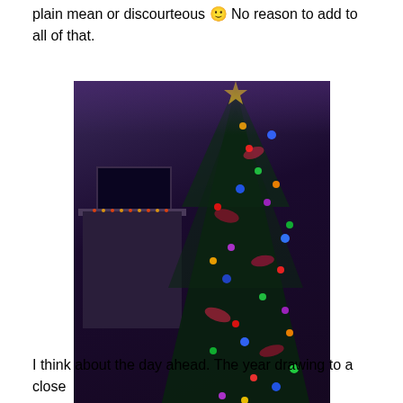plain mean or discourteour 🙂 No reason to add to all of that.
[Figure (photo): A decorated Christmas tree with colorful lights (red, blue, green, purple, orange) in a darkened room. The tree is heavily adorned with ribbons and ornaments. In the background there is a mantle with small lights and a dark TV screen.]
'Tis the season
I think about the day ahead. The year drawing to a close